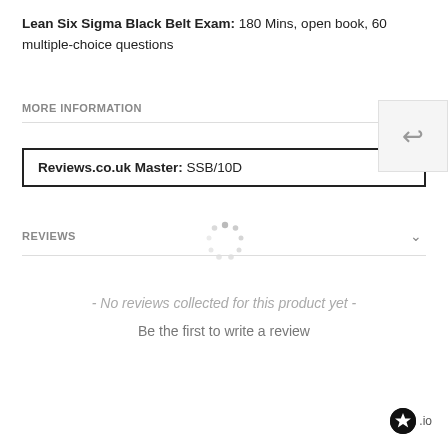Lean Six Sigma Black Belt Exam: 180 Mins, open book, 60 multiple-choice questions
MORE INFORMATION
Reviews.co.uk Master: SSB/10D
REVIEWS
- No reviews collected for this product yet -
Be the first to write a review
[Figure (logo): Reviews.io logo — black circle with white star followed by '.io' text]